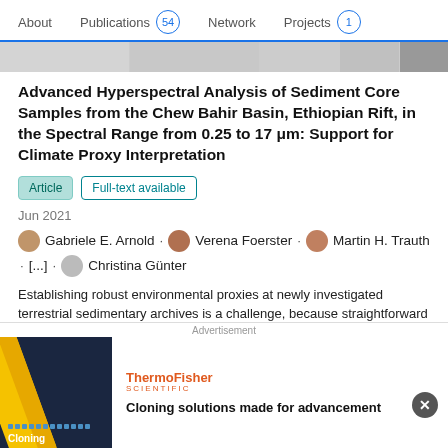About   Publications 54   Network   Projects 1
[Figure (screenshot): Thumbnail strip showing document preview images]
Advanced Hyperspectral Analysis of Sediment Core Samples from the Chew Bahir Basin, Ethiopian Rift, in the Spectral Range from 0.25 to 17 μm: Support for Climate Proxy Interpretation
Article   Full-text available
Jun 2021
Gabriele E. Arnold · Verena Foerster · Martin H. Trauth · [...] · Christina Günter
Establishing robust environmental proxies at newly investigated terrestrial sedimentary archives is a challenge, because straightforward climate reconstructions can be hampered by the complex relationship between climate parameters and sediment
[Figure (screenshot): Advertisement for ThermoFisher Scientific Cloning solutions]
Advertisement
Cloning solutions made for advancement